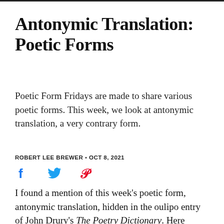Antonymic Translation: Poetic Forms
Poetic Form Fridays are made to share various poetic forms. This week, we look at antonymic translation, a very contrary form.
ROBERT LEE BREWER • OCT 8, 2021
[Figure (infographic): Social sharing icons: Facebook (blue f), Twitter (blue bird), Pinterest (red P)]
I found a mention of this week's poetic form, antonymic translation, hidden in the oulipo entry of John Drury's The Poetry Dictionary. Here